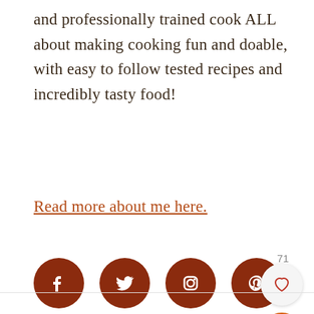and professionally trained cook ALL about making cooking fun and doable, with easy to follow tested recipes and incredibly tasty food!
Read more about me here.
[Figure (other): Social media icons: Facebook, Twitter, Instagram, Pinterest — dark brown circles with white icons]
[Figure (other): Like button (heart icon, count 71) and search button (magnifying glass, orange circle)]